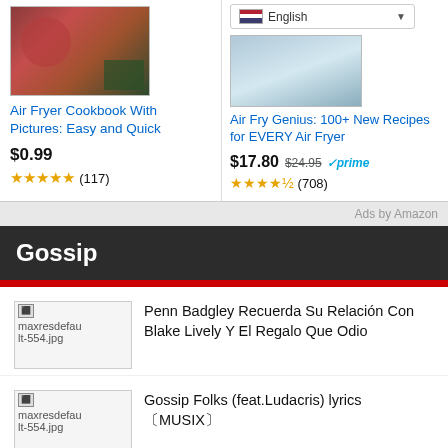[Figure (screenshot): Book cover for Air Fryer Cookbook With Pictures: Easy and Quick — reddish food photo]
Air Fryer Cookbook With Pictures: Easy and Quick
$0.99
★★★★★ (117)
[Figure (screenshot): Language dropdown showing English with US flag, and book cover for Air Fry Genius]
Air Fry Genius: 100+ New Recipes for EVERY Air Fryer
$17.80 $24.95 ✓prime
★★★★½ (708)
Ads by Amazon
Gossip
[Figure (photo): Thumbnail placeholder for maxresdefault-554.jpg]
Penn Badgley Recuerda Su Relación Con Blake Lively Y El Regalo Que Odio
[Figure (photo): Thumbnail placeholder for maxresdefault-554.jpg]
Gossip Folks (feat.Ludacris) lyrics 〔MUSIX〕
[Figure (photo): Thumbnail placeholder, partially visible]
Missy Elliott – Gossip Folks ft.Ludacris (27